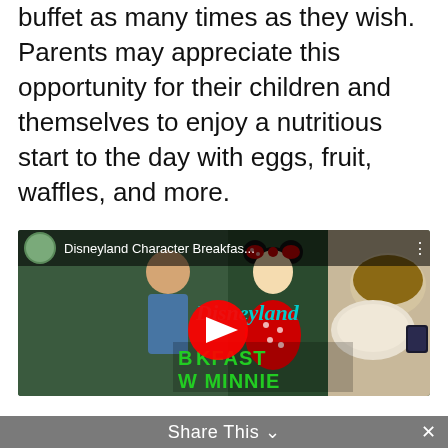buffet as many times as they wish. Parents may appreciate this opportunity for their children and themselves to enjoy a nutritious start to the day with eggs, fruit, waffles, and more.
[Figure (screenshot): YouTube video thumbnail showing a man posing with Minnie Mouse character at Disneyland, with food items visible on the right side. Video title reads 'Disneyland Character Breakfas...' with a red YouTube play button in the center. Text overlay reads 'Disneyland BREAKFAST WITH MINNIE'.]
This website uses cookies to improve your experience, but you
Share This ∨  ✕